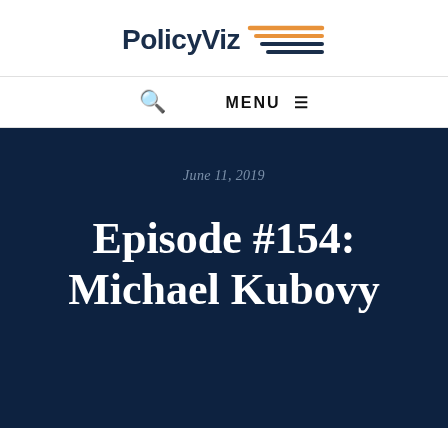[Figure (logo): PolicyViz logo with navy bold text and orange/navy horizontal speed lines icon]
MENU
June 11, 2019
Episode #154: Michael Kubovy